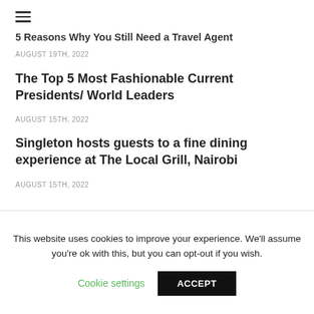≡
5 Reasons Why You Still Need a Travel Agent
AUGUST 19TH, 2022
The Top 5 Most Fashionable Current Presidents/ World Leaders
AUGUST 15TH, 2022
Singleton hosts guests to a fine dining experience at The Local Grill, Nairobi
AUGUST 15TH, 2022
SPONSORED
[Figure (other): Sponsored advertisement banner with blue gradient sky/cityscape image and a close (x) button in teal]
This website uses cookies to improve your experience. We'll assume you're ok with this, but you can opt-out if you wish.
Cookie settings   ACCEPT